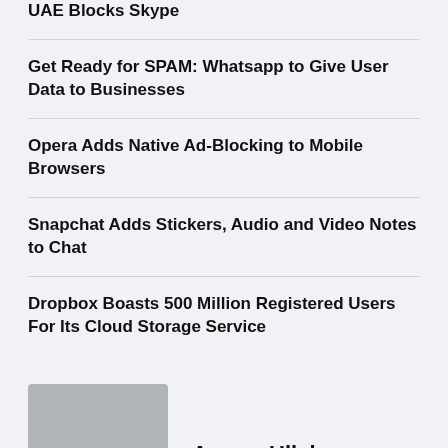UAE Blocks Skype
Get Ready for SPAM: Whatsapp to Give User Data to Businesses
Opera Adds Native Ad-Blocking to Mobile Browsers
Snapchat Adds Stickers, Audio and Video Notes to Chat
Dropbox Boasts 500 Million Registered Users For Its Cloud Storage Service
Azeem Ullah